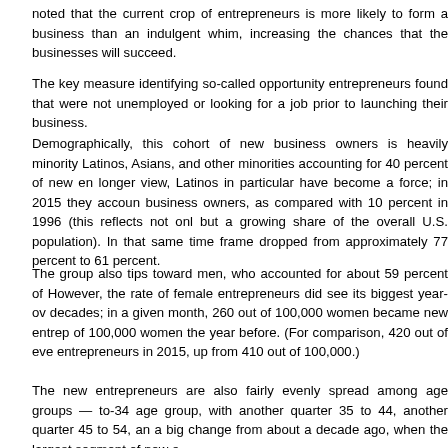noted that the current crop of entrepreneurs is more likely to form a business than an indulgent whim, increasing the chances that the businesses will succeed.
The key measure identifying so-called opportunity entrepreneurs found that were not unemployed or looking for a job prior to launching their business.
Demographically, this cohort of new business owners is heavily minority Latinos, Asians, and other minorities accounting for 40 percent of new en longer view, Latinos in particular have become a force; in 2015 they accoun business owners, as compared with 10 percent in 1996 (this reflects not onl but a growing share of the overall U.S. population). In that same time frame dropped from approximately 77 percent to 61 percent.
The group also tips toward men, who accounted for about 59 percent of However, the rate of female entrepreneurs did see its biggest year-ov decades; in a given month, 260 out of 100,000 women became new entrep of 100,000 women the year before. (For comparison, 420 out of eve entrepreneurs in 2015, up from 410 out of 100,000.)
The new entrepreneurs are also fairly evenly spread among age groups — to-34 age group, with another quarter 35 to 44, another quarter 45 to 54, an a big change from about a decade ago, when the largest segment of new e